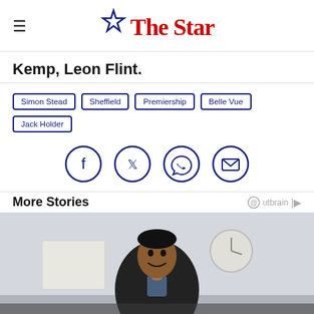The Star
Kemp, Leon Flint.
Simon Stead
Sheffield
Premiership
Belle Vue
Jack Holder
[Figure (other): Social share icons: Facebook, Twitter, WhatsApp, Email]
More Stories
[Figure (photo): Photo of a smiling young Black man in a dark suit jacket, in an office setting with a clock on the wall behind him. Partial dark overlay at bottom.]